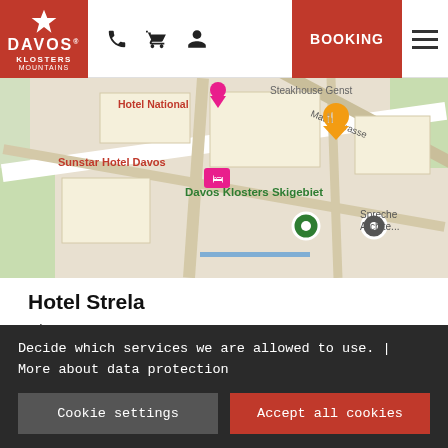[Figure (screenshot): Website header with Davos Klosters Mountains logo (red box with star), phone, cart, and person icons, a red BOOKING button, and hamburger menu]
[Figure (map): Google Maps screenshot showing area around Hotel Strela in Davos, with pins for Hotel National, Sunstar Hotel Davos, Davos Klosters Skigebiet, and other locations along Mattagstrasse]
Hotel Strela
Obere Strasse 39, 7270 Davos
Show on map
Call
Send E-Mail
Decide which services we are allowed to use. | More about data protection
Cookie settings
Accept all cookies